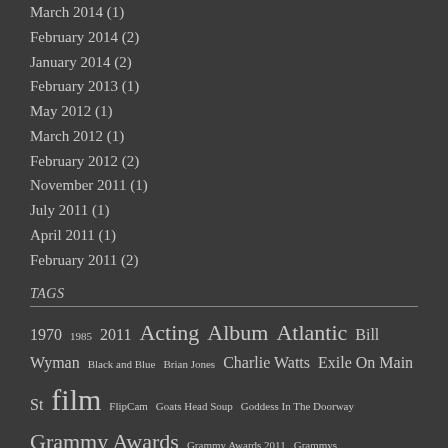March 2014 (1)
February 2014 (2)
January 2014 (2)
February 2013 (1)
May 2012 (1)
March 2012 (1)
February 2012 (2)
November 2011 (1)
July 2011 (1)
April 2011 (1)
February 2011 (2)
TAGS
1970 1985 2011 Acting Album Atlantic Bill Wyman Black and Blue Brian Jones Charlie Watts Exile On Main St film FlipCam Goats Head Soup Goddess In The Doorway Grammy Awards Grammy Awards 2011 Grammys interview Keith Richards Let It Bleed Live Main Menu Martin Scorsese Mick Taylor Music Ned Kelly performance Press Release Primitive Stones Rolling Stones Some Girls